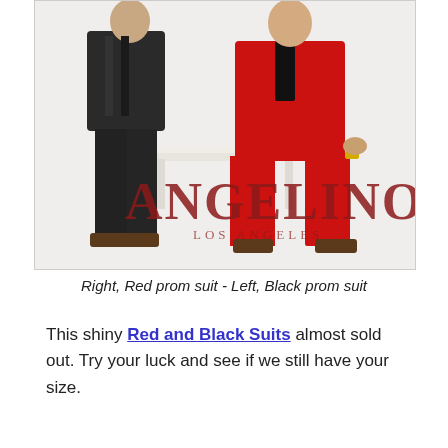[Figure (photo): Two men posing in shiny prom suits against a white background with a decorative white table. The man on the right wears a red suit with black lapels, red shiny trousers, and patterned loafers, sitting on the table edge. The man on the left wears a black shiny suit. The Angelino Los Angeles brand logo/watermark is visible on the photo.]
Right, Red prom suit - Left, Black prom suit
This shiny Red and Black Suits almost sold out. Try your luck and see if we still have your size.